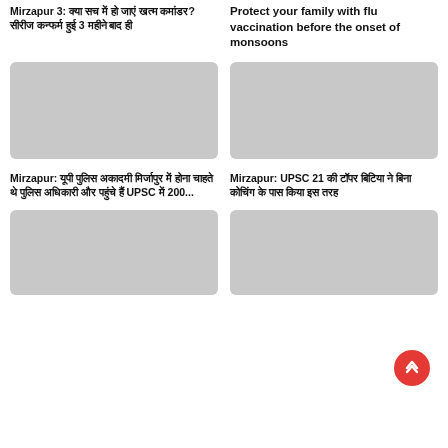Mirzapur 3: क्या सच में हो जाएं खत्म कमांडर? सीरीज कन्फर्म हुई 3 महीने बाद ही
Protect your family with flu vaccination before the onset of monsoons
[Figure (photo): Grey placeholder image for article 1]
[Figure (photo): Grey placeholder image for article 2]
Mirzapur: यूपी पुलिस अकादमी मिर्जापुर में होना चाहते थे पुलिस अधिकारी और पहुंचे हैं UPSC में 200...
Mirzapur: UPSC 21 की टॉपर बिटिया ने बिना कोचिंग के पास किया इस तरह
[Figure (photo): Grey placeholder image for article 3]
[Figure (photo): Grey placeholder image for article 4]